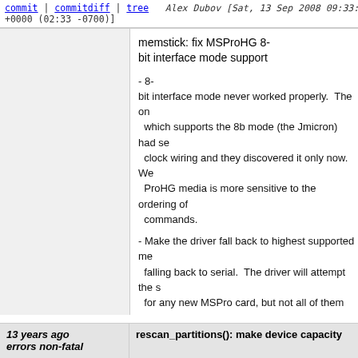commit | commitdiff | tree   Alex Dubov [Sat, 13 Sep 2008 09:33:26 +0000 (02:33 -0700)]
memstick: fix MSProHG 8-bit interface mode support

- 8-bit interface mode never worked properly.  The only host which supports the 8b mode (the Jmicron) had some clock wiring and they discovered it only now.  We... ProHG media is more sensitive to the ordering of commands.

- Make the driver fall back to highest supported me... falling back to serial.  The driver will attempt the s... for any new MSPro card, but not all of them supp... these new cards ended up in serial mode, which... (they work fine with 4b, after all).

- Edit some macros for better conformance to Son...
Signed-off-by: Alex Dubov <oakad@yahoo.com>
Signed-off-by: Andrew Morton <akpm@linux-foundation.org>
Signed-off-by: Linus Torvalds <torvalds@linux-foundation.org>
13 years ago   rescan_partitions(): make device capacity errors non-fatal